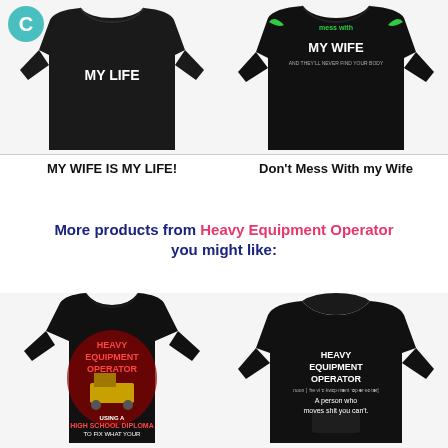[Figure (photo): Black hoodie/sweatshirt with text 'MY WIFE IS MY LIFE' on the back, with a teal C logo circle overlay in top-left]
[Figure (photo): Black sweatshirt with green graphic and text 'MESS WITH MY WIFE AND THEY'LL NEVER FIND YOUR BODY']
MY WIFE IS MY LIFE!
Don't Mess With my Wife
More products from Heavy Equipment Operator you might like:
[Figure (photo): Black t-shirt with red and yellow graphic text 'HEAVY EQUIPMENT OPERATOR using a HIGH SCHOOL DIPLOMA TO FIX WHAT YOUR...' with machinery image]
[Figure (photo): Black hoodie with white text 'HEAVY EQUIPMENT OPERATOR noun: A person who moves shit you can't.']